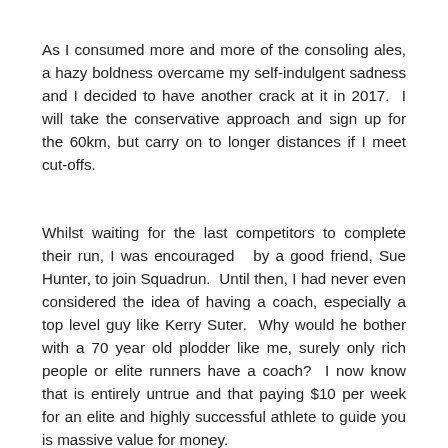As I consumed more and more of the consoling ales, a hazy boldness overcame my self-indulgent sadness and I decided to have another crack at it in 2017. I will take the conservative approach and sign up for the 60km, but carry on to longer distances if I meet cut-offs.
Whilst waiting for the last competitors to complete their run, I was encouraged by a good friend, Sue Hunter, to join Squadrun. Until then, I had never even considered the idea of having a coach, especially a top level guy like Kerry Suter. Why would he bother with a 70 year old plodder like me, surely only rich people or elite runners have a coach? I now know that is entirely untrue and that paying $10 per week for an elite and highly successful athlete to guide you is massive value for money.